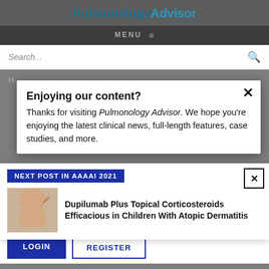PulmonologyAdvisor
MENU ≡
Search...
Enjoying our content?
Thanks for visiting Pulmonology Advisor. We hope you're enjoying the latest clinical news, full-length features, case studies, and more.
NEXT POST IN AAAAI 2021
[Figure (photo): Photo of a person scratching their arm/shoulder area, related to atopic dermatitis]
Dupilumab Plus Topical Corticosteroids Efficacious in Children With Atopic Dermatitis
LOGIN   REGISTER